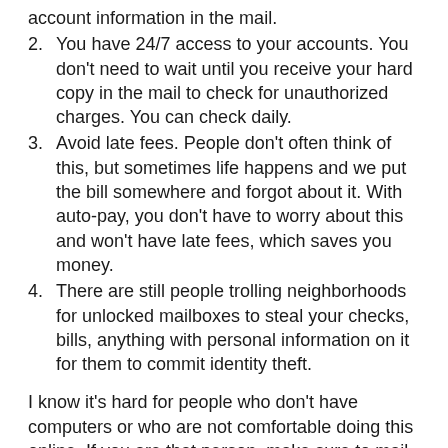account information in the mail.
2. You have 24/7 access to your accounts. You don't need to wait until you receive your hard copy in the mail to check for unauthorized charges. You can check daily.
3. Avoid late fees. People don't often think of this, but sometimes life happens and we put the bill somewhere and forgot about it. With auto-pay, you don't have to worry about this and won't have late fees, which saves you money.
4. There are still people trolling neighborhoods for unlocked mailboxes to steal your checks, bills, anything with personal information on it for them to commit identity theft.
I know it's hard for people who don't have computers or who are not comfortable doing this online. If you are that person, make sure to mail your checks in a secured location, not in your unlocked mailbox. Also, limit the information you put on your checks, make sure your SSN is not on it! Also, do not put your account numbers on the memo line.